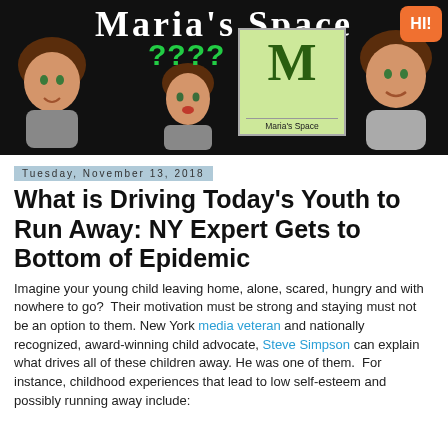[Figure (illustration): Maria's Space blog banner with cartoon avatars on black background, question marks, a logo box with letter M and 'Maria's Space' text, and a HI! speech bubble in orange]
Tuesday, November 13, 2018
What is Driving Today's Youth to Run Away: NY Expert Gets to Bottom of Epidemic
Imagine your young child leaving home, alone, scared, hungry and with nowhere to go?  Their motivation must be strong and staying must not be an option to them. New York media veteran and nationally recognized, award-winning child advocate, Steve Simpson can explain what drives all of these children away. He was one of them.  For instance, childhood experiences that lead to low self-esteem and possibly running away include: